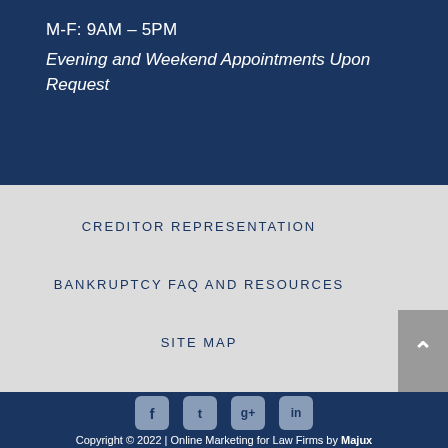M-F: 9AM – 5PM
Evening and Weekend Appointments Upon Request
CREDITOR REPRESENTATION
BANKRUPTCY FAQ AND RESOURCES
SITE MAP
Copyright © 2022 | Online Marketing for Law Firms by Majux